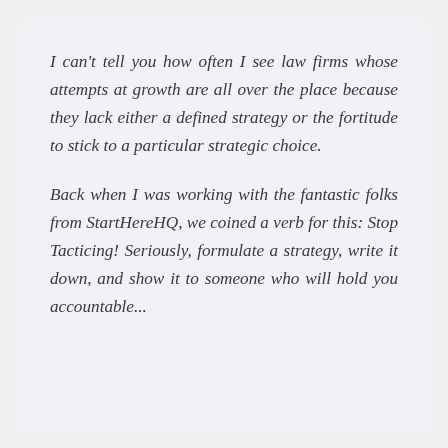I can't tell you how often I see law firms whose attempts at growth are all over the place because they lack either a defined strategy or the fortitude to stick to a particular strategic choice.
Back when I was working with the fantastic folks from StartHereHQ, we coined a verb for this: Stop Tacticing! Seriously, formulate a strategy, write it down, and show it to someone who will hold you accountable...